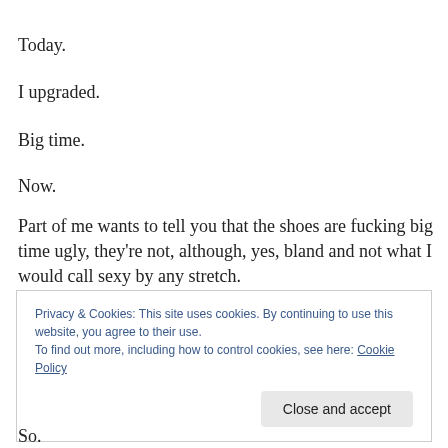Today.
I upgraded.
Big time.
Now.
Part of me wants to tell you that the shoes are fucking big time ugly, they're not, although, yes, bland and not what I would call sexy by any stretch.
Privacy & Cookies: This site uses cookies. By continuing to use this website, you agree to their use.
To find out more, including how to control cookies, see here: Cookie Policy
So.